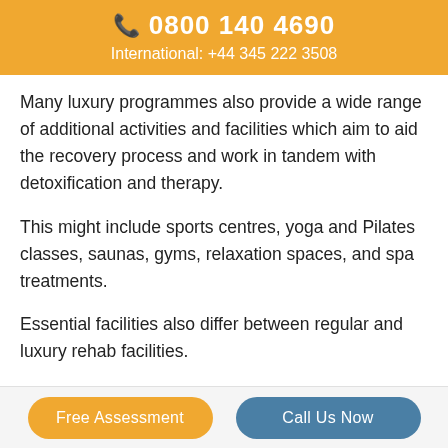📞 0800 140 4690
International: +44 345 222 3508
Many luxury programmes also provide a wide range of additional activities and facilities which aim to aid the recovery process and work in tandem with detoxification and therapy.
This might include sports centres, yoga and Pilates classes, saunas, gyms, relaxation spaces, and spa treatments.
Essential facilities also differ between regular and luxury rehab facilities.
Free Assessment | Call Us Now